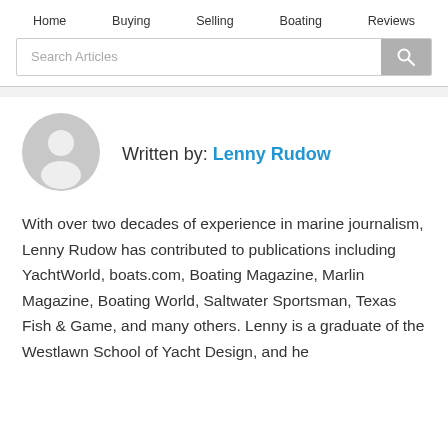Home   Buying   Selling   Boating   Reviews
Search Articles
[Figure (other): Author avatar placeholder circle with user silhouette icon in gray]
Written by: Lenny Rudow
With over two decades of experience in marine journalism, Lenny Rudow has contributed to publications including YachtWorld, boats.com, Boating Magazine, Marlin Magazine, Boating World, Saltwater Sportsman, Texas Fish & Game, and many others. Lenny is a graduate of the Westlawn School of Yacht Design, and he